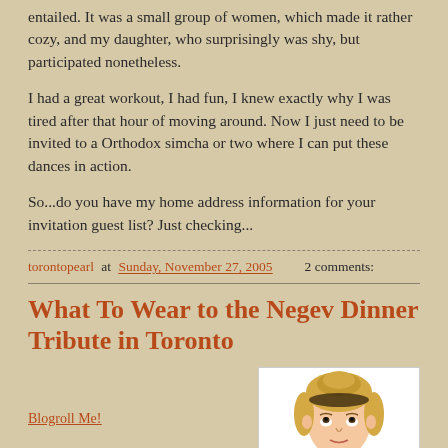entailed. It was a small group of women, which made it rather cozy, and my daughter, who surprisingly was shy, but participated nonetheless.
I had a great workout, I had fun, I knew exactly why I was tired after that hour of moving around. Now I just need to be invited to a Orthodox simcha or two where I can put these dances in action.
So...do you have my home address information for your invitation guest list? Just checking...
torontopearl at Sunday, November 27, 2005    2 comments:
What To Wear to the Negev Dinner Tribute in Toronto
Blogroll Me!
[Figure (illustration): Illustrated cartoon face of a blonde woman with hair pulled back, looking upward, drawn in a vintage style on white background]